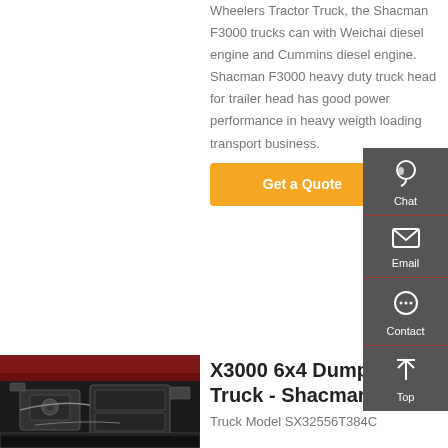Wheelers Tractor Truck, the Shacman F3000 trucks can with Weichai diesel engine and Cummins diesel engine. Shacman F3000 heavy duty truck head for trailer head has good power performance in heavy weigth loading transport business.
Get a Quote
[Figure (photo): Engine compartment of a red Shacman X3000 dump truck showing the engine bay with mechanical components]
X3000 6x4 Dump Truck - Shacman
Truck Model SX32556T384C